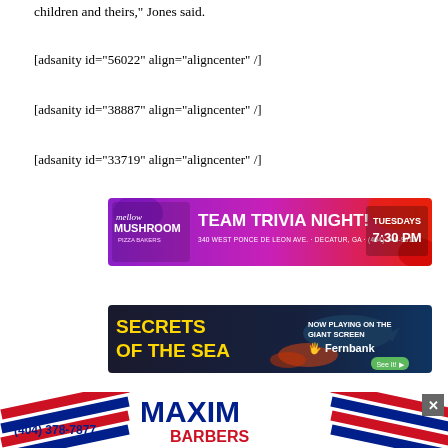children and theirs," Jones said.
[adsanity id="56022" align="aligncenter" /]
[adsanity id="38887" align="aligncenter" /]
[adsanity id="33719" align="aligncenter" /]
[Figure (photo): Mellow Mushroom Team Trivia Night advertisement banner: purple/pink/red background with mushroom logo, text 'TEAM TRIVIA NIGHT! TUESDAYS 7:30 PM', address '340 WEST PONCE DE LEON AVE. · DECATUR, GA · (404) 748-9612']
[Figure (photo): Secrets of the Sea advertisement banner: ocean/underwater background with whale, yellow text 'SECRETS OF THE SEA', 'NOW PLAYING ON THE GIANT SCREEN', Fernbank logo with 'See It!' button]
[Figure (photo): Maxim Barbers advertisement banner: American flag stripe design on left and right, large blue 'MAXIM BARBERS' text in center, phone number '(404) 378-7877' on left]